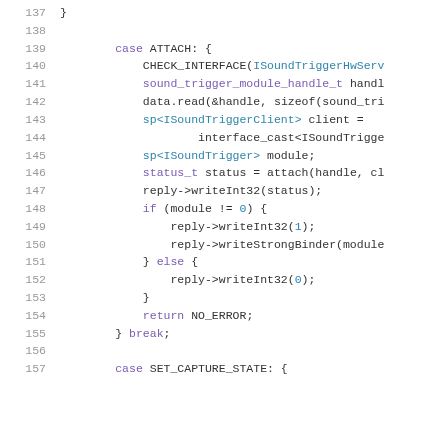[Figure (screenshot): Source code listing showing lines 137-157 of a C++ file with syntax highlighting. The code shows a switch-case block for ATTACH and SET_CAPTURE_STATE cases, using Android ISoundTrigger interfaces.]